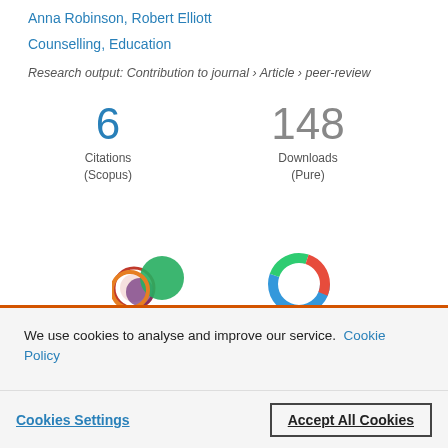Anna Robinson, Robert Elliott
Counselling, Education
Research output: Contribution to journal › Article › peer-review
6 Citations (Scopus)
148 Downloads (Pure)
[Figure (infographic): Scopus and Altmetric badge icons partially visible]
We use cookies to analyse and improve our service. Cookie Policy
Cookies Settings
Accept All Cookies